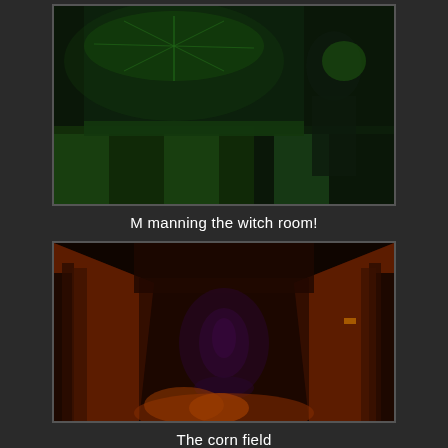[Figure (photo): Dark room lit with green light showing a checkered floor and a green spider-web decorated cloth/table draped in green, with a person visible on the right side in the background.]
M manning the witch room!
[Figure (photo): A dark corridor lit with red/orange light on the sides and blue/purple light at the far end, decorated with corn stalks or plant material to look like a corn field haunted house attraction.]
The corn field